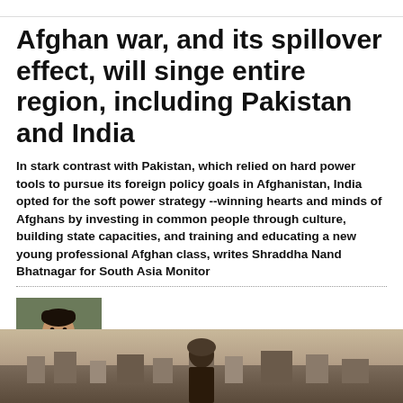Afghan war, and its spillover effect, will singe entire region, including Pakistan and India
In stark contrast with Pakistan, which relied on hard power tools to pursue its foreign policy goals in Afghanistan, India opted for the soft power strategy --winning hearts and minds of Afghans by investing in common people through culture, building state capacities, and training and educating a new young professional Afghan class, writes Shraddha Nand Bhatnagar for South Asia Monitor
By Shraddha Nand Bhatnagar | Jul 19, 2021
[Figure (photo): Portrait photo of Shraddha Nand Bhatnagar, a man with dark hair and beard wearing outdoor clothing]
[Figure (photo): Large photo at the bottom of the page showing a person in a city/town setting]